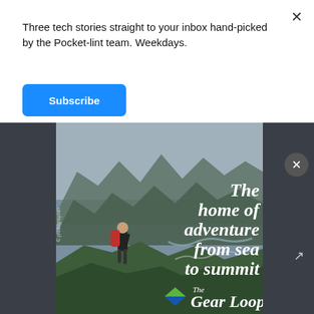Three tech stories straight to your inbox hand-picked by the Pocket-lint team. Weekdays.
Subscribe
[Figure (illustration): Outdoor adventure advertisement showing a hiker with a red backpack standing on a mountain ridge overlooking a scenic valley. White italic text reads 'The home of adventure from sea to summit'. The Gear Loop logo appears at the bottom with a diamond-shaped icon in green and blue.]